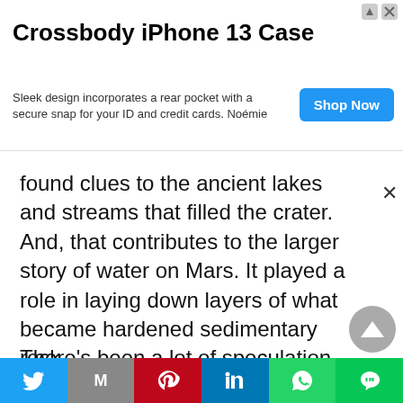[Figure (other): Advertisement banner for Crossbody iPhone 13 Case by Noémie, with a blue Shop Now button]
found clues to the ancient lakes and streams that filled the crater. And, that contributes to the larger story of water on Mars. It played a role in laying down layers of what became hardened sedimentary rock.
There's been a lot of speculation that such a lake could have welcomed and nourished microbial life at one time. There's no proof that life existed, yet. The search for that life and the environments where it could have flourished is, in part, why
[Figure (other): Social sharing bar with Twitter, Gmail, Pinterest, LinkedIn, WhatsApp, and LINE buttons]